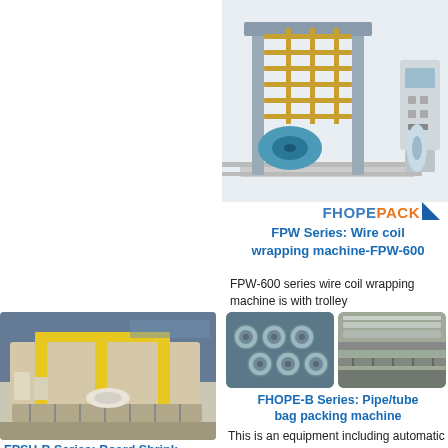[Figure (photo): FPW-600 wire coil wrapping machine with trolley, industrial packaging equipment, gantry frame structure with control panel]
[Figure (logo): FHOPEPACK logo with blue text and orange accent and blue triangle]
FPW Series: Wire coil wrapping machine-FPW-600
FPW-600 series wire coil wrapping machine is with trolley
[Figure (photo): Industrial board shrink wrapping machine on conveyor line in factory]
[Figure (photo): Two close-up photos of pipe/tube bag packing machine components showing tubes and rollers]
FHOPE-B Series: Pipe/tube bag packing machine
This is an equipment including automatic pipe tube counting
FPSH-B Series: Board Shrink